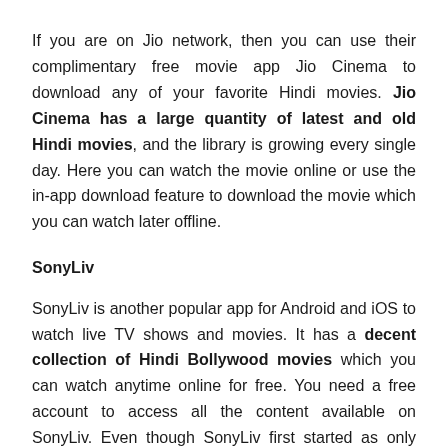If you are on Jio network, then you can use their complimentary free movie app Jio Cinema to download any of your favorite Hindi movies. Jio Cinema has a large quantity of latest and old Hindi movies, and the library is growing every single day. Here you can watch the movie online or use the in-app download feature to download the movie which you can watch later offline.
SonyLiv
SonyLiv is another popular app for Android and iOS to watch live TV shows and movies. It has a decent collection of Hindi Bollywood movies which you can watch anytime online for free. You need a free account to access all the content available on SonyLiv. Even though SonyLiv first started as only online streaming content, now with recent update it